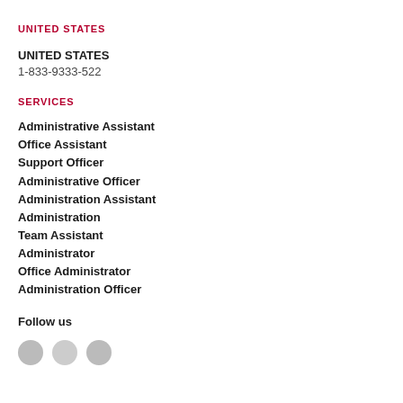UNITED STATES
UNITED STATES
1-833-9333-522
SERVICES
Administrative Assistant
Office Assistant
Support Officer
Administrative Officer
Administration Assistant
Administration
Team Assistant
Administrator
Office Administrator
Administration Officer
Follow us
[Figure (logo): Social media icons row]